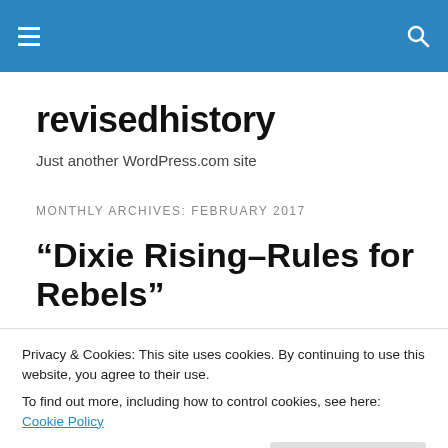revisedhistory — site header bar with hamburger menu and search icon
revisedhistory
Just another WordPress.com site
MONTHLY ARCHIVES: FEBRUARY 2017
“Dixie Rising–Rules for Rebels”
Privacy & Cookies: This site uses cookies. By continuing to use this website, you agree to their use.
To find out more, including how to control cookies, see here: Cookie Policy
Close and accept
Rebels which was just published this year by Shotwell